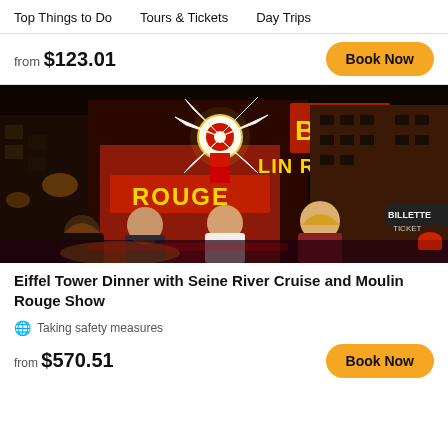Top Things to Do   Tours & Tickets   Day Trips
from $123.01
Book Now
[Figure (photo): Group of four people standing in front of the Moulin Rouge at night, with the iconic red windmill and neon signs lit up in red and yellow.]
Eiffel Tower Dinner with Seine River Cruise and Moulin Rouge Show
Taking safety measures
from $570.51
Book Now